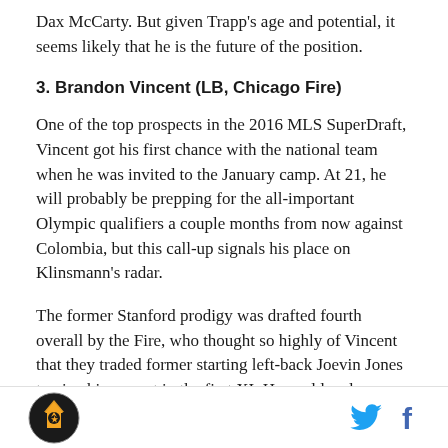Dax McCarty. But given Trapp's age and potential, it seems likely that he is the future of the position.
3. Brandon Vincent (LB, Chicago Fire)
One of the top prospects in the 2016 MLS SuperDraft, Vincent got his first chance with the national team when he was invited to the January camp. At 21, he will probably be prepping for the all-important Olympic qualifiers a couple months from now against Colombia, but this call-up signals his place on Klinsmann's radar.
The former Stanford prodigy was drafted fourth overall by the Fire, who thought so highly of Vincent that they traded former starting left-back Joevin Jones to give him a spot in the first XI. He could end up starting for